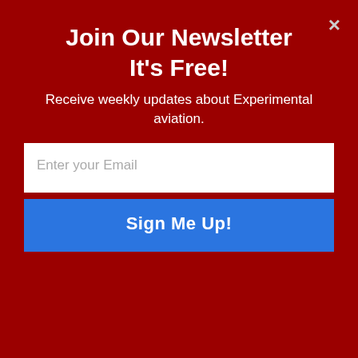Join Our Newsletter
It's Free!
Receive weekly updates about Experimental aviation.
[Figure (screenshot): Email input field with placeholder text 'Enter your Email']
[Figure (screenshot): Blue 'Sign Me Up!' button]
[Figure (logo): Powered by SUMO badge]
fwf
garmin
history
humor
instruments
kit building
kitplanes
lsa
lycoming
maintenance
ownership
pilot events
products
propellers
racing
rans
regulations
reno
replica
safety
shop tip
sonex
subsonex
sun 'n fun
tools
van's
video
zenith